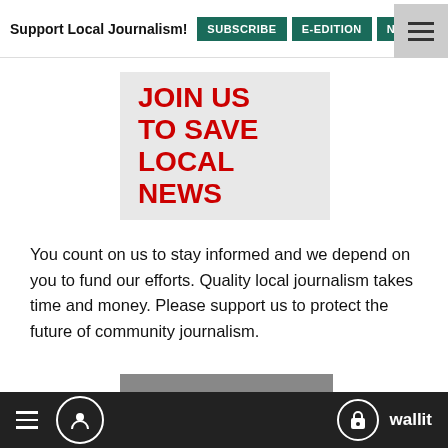Support Local Journalism! | SUBSCRIBE | E-EDITION | NEWSLETTER
[Figure (illustration): Red bold text on light gray background reading JOIN US TO SAVE LOCAL NEWS]
You count on us to stay informed and we depend on you to fund our efforts. Quality local journalism takes time and money. Please support us to protect the future of community journalism.
[Figure (illustration): White bold text on gray background reading SHARE YOUR THOUGHTS]
Have a thought or opinion on the news of the day? Get on your
≡  [user icon]  🔒 wallit